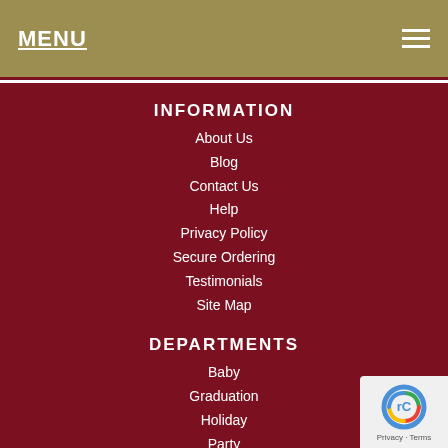MENU
INFORMATION
About Us
Blog
Contact Us
Help
Privacy Policy
Secure Ordering
Testimonials
Site Map
DEPARTMENTS
Baby
Graduation
Holiday
Party